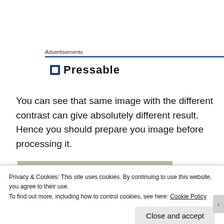Advertisements
[Figure (logo): Pressable logo with blue square icon and bold text 'Pressable']
You can see that same image with the different contrast can give absolutely different result. Hence you should prepare you image before processing it.
[Figure (photo): Partial image showing a dark-bordered rectangle on a beige/gray background]
Privacy & Cookies: This site uses cookies. By continuing to use this website, you agree to their use.
To find out more, including how to control cookies, see here: Cookie Policy
Close and accept